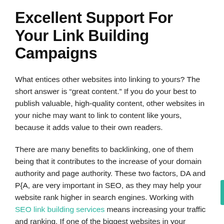Excellent Support For Your Link Building Campaigns
What entices other websites into linking to yours? The short answer is “great content.” If you do your best to publish valuable, high-quality content, other websites in your niche may want to link to content like yours, because it adds value to their own readers.
There are many benefits to backlinking, one of them being that it contributes to the increase of your domain authority and page authority. These two factors, DA and P{A, are very important in SEO, as they may help your website rank higher in search engines. Working with SEO link building services means increasing your traffic and ranking. If one of the biggest websites in your industry links to one of your articles, you have great chances to...